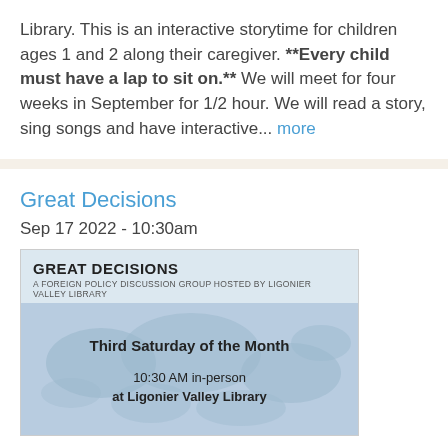Library. This is an interactive storytime for children ages 1 and 2 along their caregiver. **Every child must have a lap to sit on.** We will meet for four weeks in September for 1/2 hour. We will read a story, sing songs and have interactive... more
Great Decisions
Sep 17 2022 - 10:30am
[Figure (illustration): Great Decisions event flyer showing 'GREAT DECISIONS' title, subtitle 'A FOREIGN POLICY DISCUSSION GROUP HOSTED BY LIGONIER VALLEY LIBRARY', world map background, text 'Third Saturday of the Month', '10:30 AM in-person at Ligonier Valley Library']
Great Decisions - a Foreign Policy Discussion Group TBA  The Ligonier Great Decisions group follows the national Foreign Policy Association's Great Decisions' 2022 program. A copy of the book, which includes all 9 topics that will be discussed, can be found at the